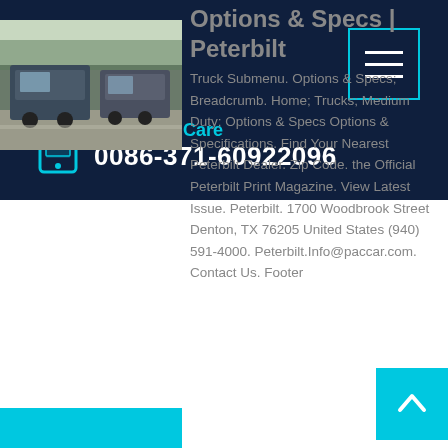Customer Care 0086-371-60922096
Options & Specs | Peterbilt
[Figure (photo): Photo of trucks parked on a street]
Truck Submenu. Options & Specs; Breadcrumb. Home; Trucks; Medium Duty; Options & Specs Options & Specifications. Find Your Nearest Peterbilt Dealer. Zip Code. the Official Peterbilt Print Magazine. View Latest Issue. Peterbilt. 1700 Woodbrook Street Denton, TX 76205 United States (940) 591-4000. Peterbilt.Info@paccar.com. Contact Us. Footer